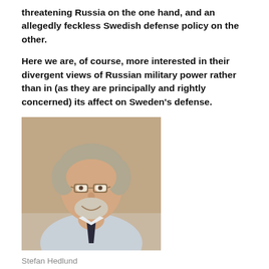threatening Russia on the one hand, and an allegedly feckless Swedish defense policy on the other.
Here we are, of course, more interested in their divergent views of Russian military power rather than in (as they are principally and rightly concerned) its affect on Sweden's defense.
[Figure (photo): Headshot photo of Stefan Hedlund, a middle-aged man with gray hair and beard, wearing glasses and a tie.]
Stefan Hedlund
Uppsala University professor Stefan Hedlund wrote first. His article appeared originally in Svenska Dagbladet